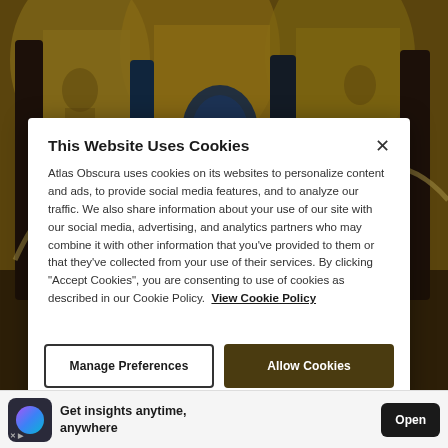[Figure (photo): Interior of an ornate Byzantine-style church with golden mosaic arches, decorated columns, and religious artwork — Atlas Obscura website background]
This Website Uses Cookies
Atlas Obscura uses cookies on its websites to personalize content and ads, to provide social media features, and to analyze our traffic. We also share information about your use of our site with our social media, advertising, and analytics partners who may combine it with other information that you've provided to them or that they've collected from your use of their services. By clicking "Accept Cookies", you are consenting to use of cookies as described in our Cookie Policy. View Cookie Policy
Manage Preferences
Allow Cookies
Get insights anytime, anywhere
Open